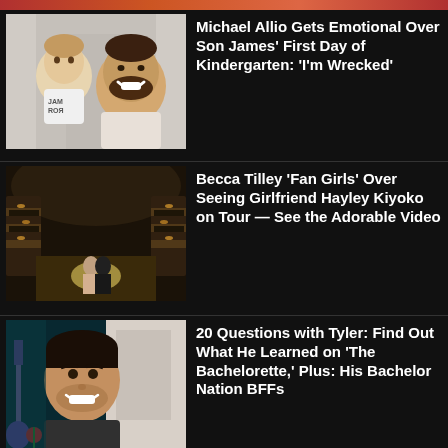[Figure (photo): Top partial strip showing red/orange tones from a cropped image at the very top of the page]
[Figure (photo): Photo of a man and a young child (boy) smiling together in a hallway; boy wearing a jersey that reads JAMES]
Michael Allio Gets Emotional Over Son James' First Day of Kindergarten: ‘I’m Wrecked’
[Figure (photo): Photo of a ornate theater interior with a performer on stage under spotlight]
Becca Tilley ‘Fan Girls’ Over Seeing Girlfriend Hayley Kiyoko on Tour — See the Adorable Video
[Figure (photo): Photo of a young man smiling, with a guitar and a rose visible in the background, teal/blue lighting]
20 Questions with Tyler: Find Out What He Learned on ‘The Bachelorette,’ Plus: His Bachelor Nation BFFs